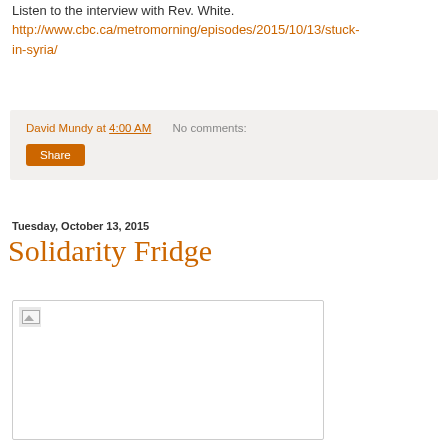Listen to the interview with Rev. White.
http://www.cbc.ca/metromorning/episodes/2015/10/13/stuck-in-syria/
David Mundy at 4:00 AM   No comments:
Share
Tuesday, October 13, 2015
Solidarity Fridge
[Figure (photo): Broken/missing image placeholder inside a bordered box]